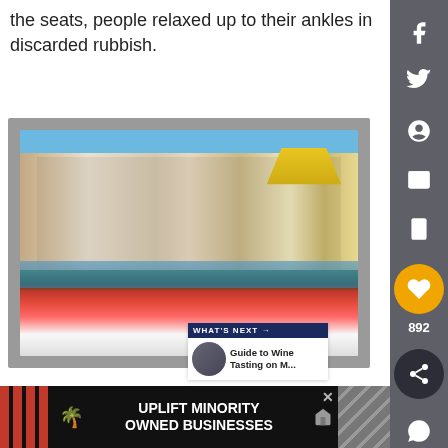the seats, people relaxed up to their ankles in discarded rubbish.
[Figure (photo): Colorful half-timbered houses along a canal with flower boxes and blooms in the foreground, resembling Colmar, Alsace, France.]
WHAT'S NEXT → Guide to Wine Tasting on M...
[Figure (infographic): Advertisement: UPLIFT MINORITY OWNED BUSINESSES with close button]